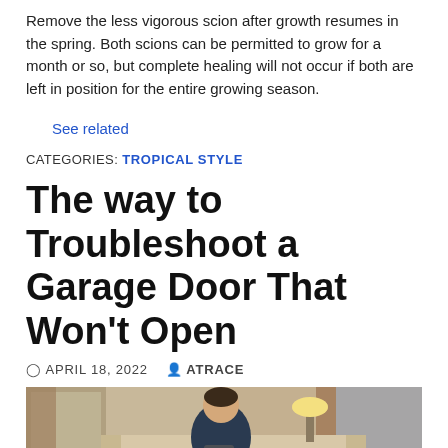Remove the less vigorous scion after growth resumes in the spring. Both scions can be permitted to grow for a month or so, but complete healing will not occur if both are left in position for the entire growing season.
See related
CATEGORIES: TROPICAL STYLE
The way to Troubleshoot a Garage Door That Won't Open
APRIL 18, 2022  ATRACE
[Figure (photo): A man sitting on a sofa in a living room, holding something, with a lamp and window visible in the background.]